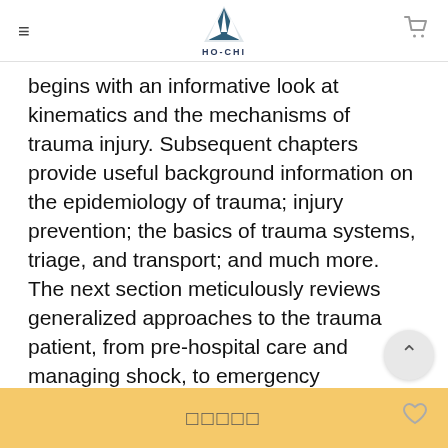HO-CHI (logo)
begins with an informative look at kinematics and the mechanisms of trauma injury. Subsequent chapters provide useful background information on the epidemiology of trauma; injury prevention; the basics of trauma systems, triage, and transport; and much more. The next section meticulously reviews generalized approaches to the trauma patient, from pre-hospital care and managing shock, to emergency department thoracotomy and the management of infections. Trauma then delivers a clear organ by
□□□□□